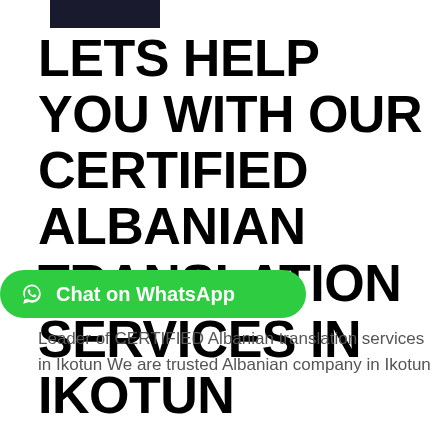[Figure (logo): Dark rectangular logo/image at top]
LETS HELP YOU WITH OUR CERTIFIED ALBANIAN TRANSLATION SERVICES IN IKOTUN
[Figure (other): Green Chat on WhatsApp button with WhatsApp icon]
Leader of CERTIFIED Albanian translation services in Ikotun We are trusted Albanian company in Ikotun